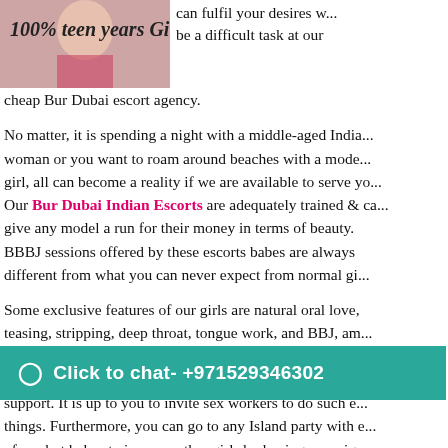[Figure (photo): Photo with overlay text '100% teen years Girl']
can fulfil your desires w... be a difficult task at our cheap Bur Dubai escort agency.
No matter, it is spending a night with a middle-aged India... woman or you want to roam around beaches with a mode... girl, all can become a reality if we are available to serve yo... Our Bur Dubai Indian Escorts are adequately trained & ca... give any model a run for their money in terms of beauty. BBBJ sessions offered by these escorts babes are always different from what you can never expect from normal gi...
Some exclusive features of our girls are natural oral love, teasing, stripping, deep throat, tongue work, and BBJ, am... others. You can try all the poses with these Bur Dubai Inc... Call Girls, and we can ensure that they will give you full support. It is up to you to invite sex workers to do such e... things. Furthermore, you can go to any Island party with e... of our hot babes to impress other girls by having one-nig... stands. The... atmosphere will completely change when you are with ou...
Click to chat- +971529346302